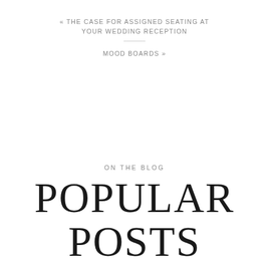« THE CASE FOR ASSIGNED SEATING AT YOUR WEDDING RECEPTION
MOOD BOARDS »
ON THE BLOG
POPULAR POSTS